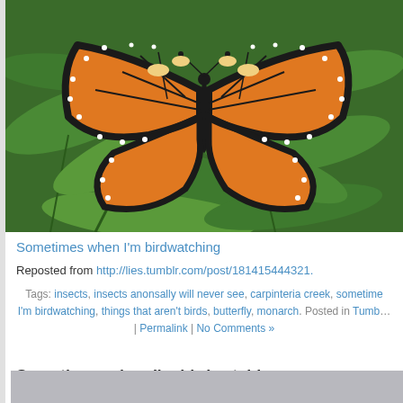[Figure (photo): A monarch butterfly with open wings resting on green leaves. The butterfly has characteristic orange wings with black veining and white spots along the edges.]
Sometimes when I'm birdwatching
Reposted from http://lies.tumblr.com/post/181415444321.
Tags: insects, insects anonsally will never see, carpinteria creek, sometimes when I'm birdwatching, things that aren't birds, butterfly, monarch. Posted in Tumblr | Permalink | No Comments »
Sometimes when I'm birdwatching
Friday, December 7th, 2018
[Figure (photo): Partial view of another photo, gray/blue toned, beginning of next post's image.]